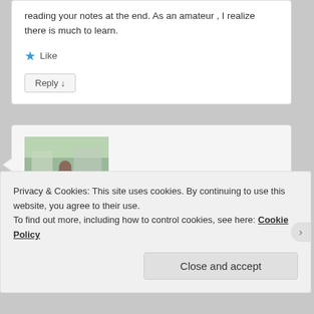reading your notes at the end. As an amateur , I realize there is much to learn.
★ Like
Reply ↓
[Figure (photo): Profile photo of Thailand Everyday user showing a person sitting outdoors near a railing with trees in background]
Thailand Everyday on May 16, 2015 at 1:09 am said:
Very nice landscape pictures. The colors are rich
Privacy & Cookies: This site uses cookies. By continuing to use this website, you agree to their use.
To find out more, including how to control cookies, see here: Cookie Policy
Close and accept